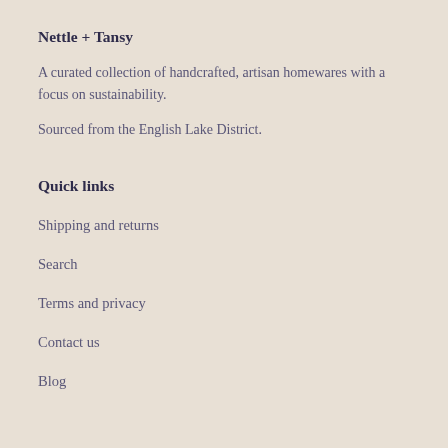Nettle + Tansy
A curated collection of handcrafted, artisan homewares with a focus on sustainability.
Sourced from the English Lake District.
Quick links
Shipping and returns
Search
Terms and privacy
Contact us
Blog